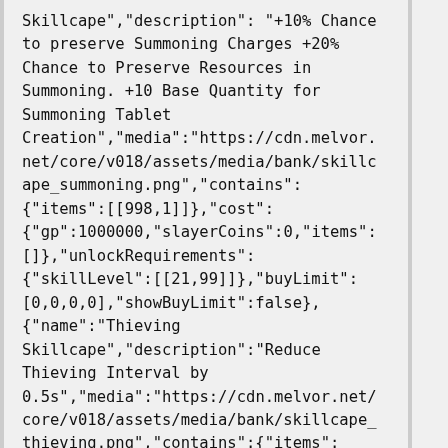Skillcape","description": "+10% Chance to preserve Summoning Charges +20% Chance to Preserve Resources in Summoning. +10 Base Quantity for Summoning Tablet Creation","media":"https://cdn.melvor.net/core/v018/assets/media/bank/skillcape_summoning.png","contains":{"items":[[998,1]]},"cost":{"gp":1000000,"slayerCoins":0,"items":[]},"unlockRequirements":{"skillLevel":[[21,99]]},"buyLimit":[0,0,0,0],"showBuyLimit":false},{"name":"Thieving Skillcape","description":"Reduce Thieving Interval by 0.5s","media":"https://cdn.melvor.net/core/v018/assets/media/bank/skillcape_thieving.png","contains":{"items":[[459,1]]},"cost":{"gp":1000000,"slayerCoins":0,"items":[]},"unlockRequirements":